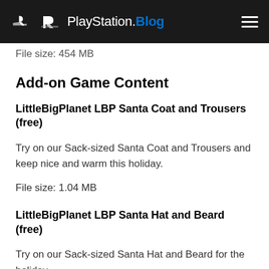PlayStation.Blog
File size: 454 MB
Add-on Game Content
LittleBigPlanet LBP Santa Coat and Trousers (free)
Try on our Sack-sized Santa Coat and Trousers and keep nice and warm this holiday.
File size: 1.04 MB
LittleBigPlanet LBP Santa Hat and Beard (free)
Try on our Sack-sized Santa Hat and Beard for the holiday.
File size: 1.04 MB